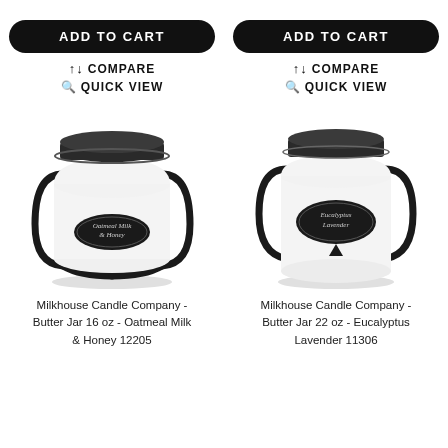[Figure (photo): ADD TO CART button (black pill shape) for left product]
[Figure (photo): ADD TO CART button (black pill shape) for right product]
↑↓ COMPARE
↑↓ COMPARE
🔍 QUICK VIEW
🔍 QUICK VIEW
[Figure (photo): Milkhouse Candle Company butter jar candle with black lid and handle, Oatmeal Milk & Honey label]
[Figure (photo): Milkhouse Candle Company butter jar candle with black lid and handle, Eucalyptus Lavender label]
Milkhouse Candle Company - Butter Jar 16 oz - Oatmeal Milk & Honey 12205
Milkhouse Candle Company - Butter Jar 22 oz - Eucalyptus Lavender 11306